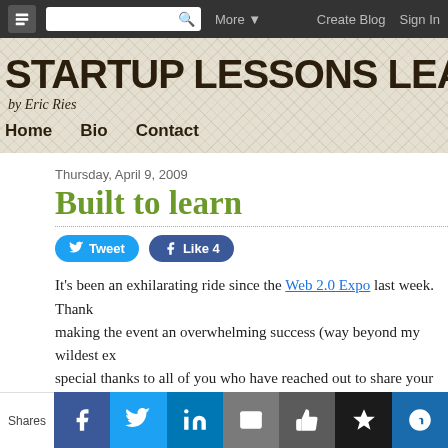Blogger navigation bar with logo, search, More, Create Blog, Sign In
STARTUP LESSONS LEARNED
by Eric Ries
Home    Bio    Contact
Thursday, April 9, 2009
Built to learn
Tweet  Like 4
It's been an exhilarating ride since the Web 2.0 Expo last week. Thank making the event an overwhelming success (way beyond my wildest ex special thanks to all of you who have reached out to share your feedba
Shares [Facebook] [Twitter] [LinkedIn] [Email] [Like] [Buffer] [Crown]